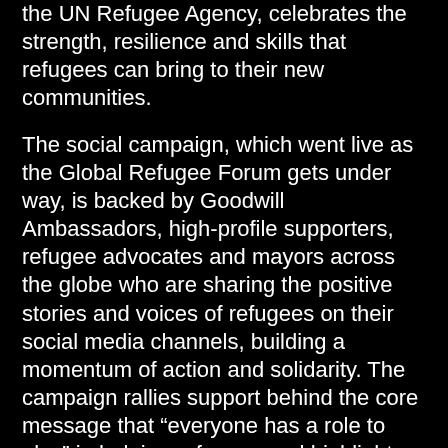the UN Refugee Agency, celebrates the strength, resilience and skills that refugees can bring to their new communities.
The social campaign, which went live as the Global Refugee Forum gets under way, is backed by Goodwill Ambassadors, high-profile supporters, refugee advocates and mayors across the globe who are sharing the positive stories and voices of refugees on their social media channels, building a momentum of action and solidarity. The campaign rallies support behind the core message that “everyone has a role to play” in helping refugees and highlights how we can all help to counter xenophobia, intolerance and fear and empower refugees to rebuild their futures.
The campaign kicks off with a powerful multi-voice video in which refugees are joined by celebrities and advocates to rally support around the core message of the GRF – that everyone has a role to play in helping refugees. The video features UNHCR Goodwill Ambassadors and celebrity supporters including Ben Stiller, Nomzamo Mbatha, Adut Akech, Cate Blanchett, MIYAVI, Jung Woo-sung, Barbara Hendricks, Yusra Mardini, Neil Gaiman, Praya